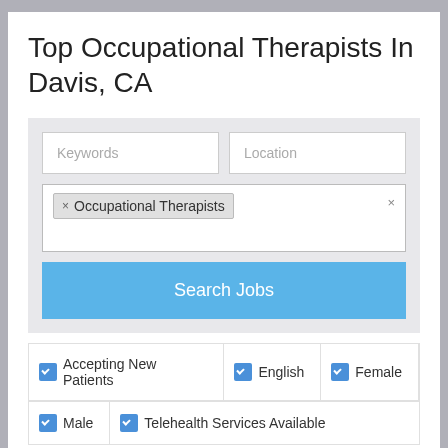Top Occupational Therapists In Davis, CA
[Figure (screenshot): Search form with Keywords and Location text inputs, a specialty tag field showing 'Occupational Therapists' tag with an X close button, and a blue 'Search Jobs' button]
Accepting New Patients
English
Female
Male
Telehealth Services Available